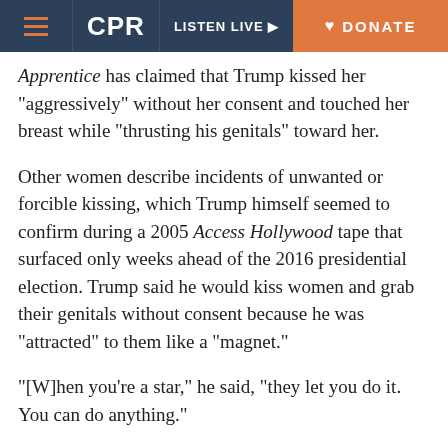CPR | LISTEN LIVE | DONATE
Summer Zervos, a former contestant on The Apprentice has claimed that Trump kissed her “aggressively” without her consent and touched her breast while “thrusting his genitals” toward her.
Other women describe incidents of unwanted or forcible kissing, which Trump himself seemed to confirm during a 2005 Access Hollywood tape that surfaced only weeks ahead of the 2016 presidential election. Trump said he would kiss women and grab their genitals without consent because he was “attracted” to them like a “magnet.”
“[W]hen you’re a star,” he said, “they let you do it. You can do anything.”